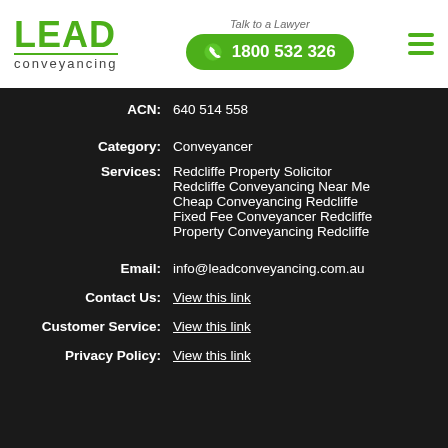[Figure (logo): LEAD conveyancing logo with green text and tagline]
Talk to a Lawyer
1800 532 326
| ACN: | 640 514 558 |
| Category: | Conveyancer |
| Services: | Redcliffe Property Solicitor
Redcliffe Conveyancing Near Me
Cheap Conveyancing Redcliffe
Fixed Fee Conveyancer Redcliffe
Property Conveyancing Redcliffe |
| Email: | info@leadconveyancing.com.au |
| Contact Us: | View this link |
| Customer Service: | View this link |
| Privacy Policy: | View this link |